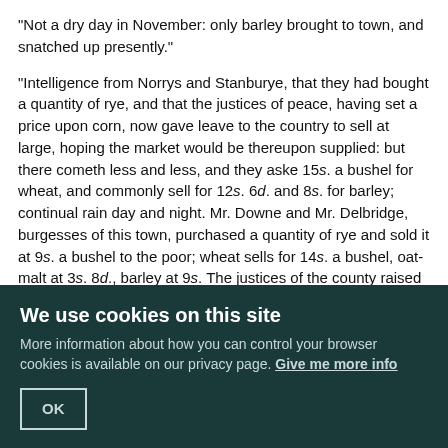"Not a dry day in November: only barley brought to town, and snatched up presently."
"Intelligence from Norrys and Stanburye, that they had bought a quantity of rye, and that the justices of peace, having set a price upon corn, now gave leave to the country to sell at large, hoping the market would be thereupon supplied: but there cometh less and less, and they aske 15s. a bushel for wheat, and commonly sell for 12s. 6d. and 8s. for barley; continual rain day and night. Mr. Downe and Mr. Delbridge, burgesses of this town, purchased a quantity of rye and sold it at 9s. a bushel to the poor; wheat sells for 14s. a bushel, oat-malt at 3s. 8d., barley at 9s. The justices of the county raised contributions to send to Dantzic for rye."
1597. April. Wheat sold for 18s. a bushel, barley 13s., rye 14s., oats 4s. 10d. Rye was afterwards 15s. Arrived three ships that were sent from hence to Dantzic with rye. Now in July, by reason of continual rain, wheat sold last Friday for 20s. a bushel.
1598. Corn is fallen. Wheat 8s., rye 6s., barley 6s., oats 1s. 10d.
1599. A better harvest never heard of than this. Wheat 4s., barley 2s. 6d. Later
We use cookies on this site
More information about how you can control your browser cookies is available on our privacy page. Give me more info
OK